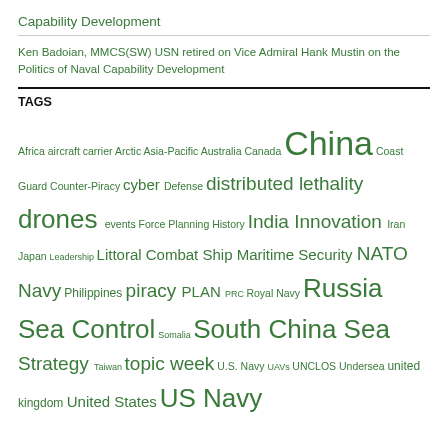Capability Development
Ken Badoian, MMCS(SW) USN retired on Vice Admiral Hank Mustin on the Politics of Naval Capability Development
TAGS
Africa aircraft carrier Arctic Asia-Pacific Australia Canada China Coast Guard Counter-Piracy cyber Defense distributed lethality drones events Force Planning History India Innovation Iran Japan Leadership Littoral Combat Ship Maritime Security NATO Navy Philippines piracy PLAN PRC Royal Navy Russia Sea Control Somalia South China Sea Strategy Taiwan topic week U.S. Navy UAVs UNCLOS Undersea united kingdom United States US Navy